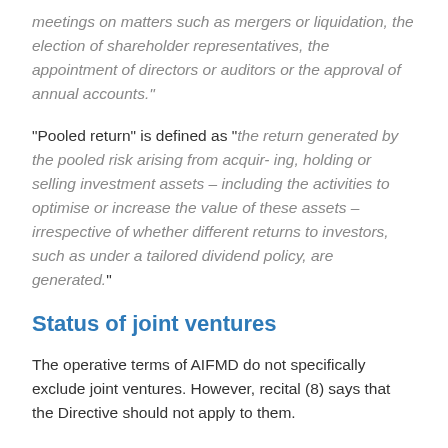meetings on matters such as mergers or liquidation, the election of shareholder representatives, the appointment of directors or auditors or the approval of annual accounts.
"Pooled return" is defined as "the return generated by the pooled risk arising from acquir- ing, holding or selling investment assets – including the activities to optimise or increase the value of these assets – irrespective of whether different returns to investors, such as under a tailored dividend policy, are generated."
Status of joint ventures
The operative terms of AIFMD do not specifically exclude joint ventures. However, recital (8) says that the Directive should not apply to them.